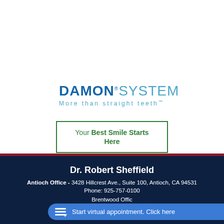[Figure (logo): Damon System logo with tagline 'More than straight teeth']
Your Best Smile Starts Here
Dr. Robert Sheffield
Antioch Office - 3428 Hillcrest Ave., Suite 100, Antioch, CA 94531
Phone: 925-757-0100
Brentwood Office
Start virtual appointment. Click here